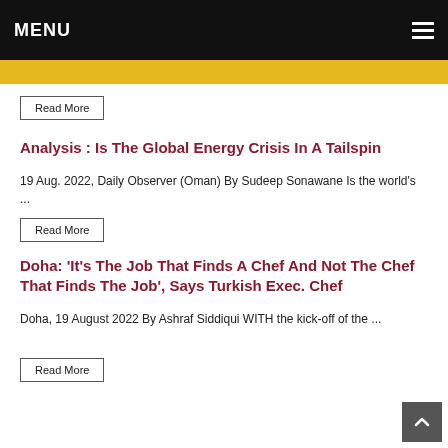MENU
Read More
Analysis : Is The Global Energy Crisis In A Tailspin
19 Aug. 2022, Daily Observer (Oman) By Sudeep Sonawane Is the world's ...
Read More
Doha: 'It's The Job That Finds A Chef And Not The Chef That Finds The Job', Says Turkish Exec. Chef
Doha, 19 August 2022 By Ashraf Siddiqui WITH the kick-off of the ...
Read More